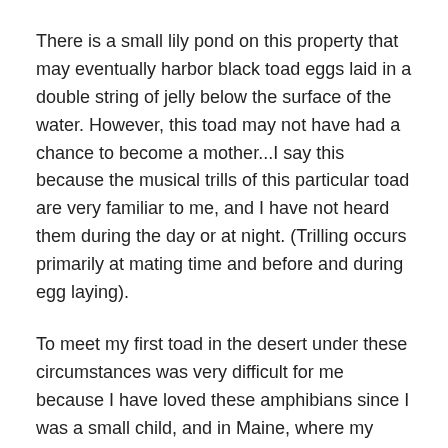There is a small lily pond on this property that may eventually harbor black toad eggs laid in a double string of jelly below the surface of the water. However, this toad may not have had a chance to become a mother...I say this because the musical trills of this particular toad are very familiar to me, and I have not heard them during the day or at night. (Trilling occurs primarily at mating time and before and during egg laying).
To meet my first toad in the desert under these circumstances was very difficult for me because I have loved these amphibians since I was a small child, and in Maine, where my home is, I created a vernal pool for the toads that is situated next to the brook. Above on the hill in my flower garden, there is also a small lily pond for frogs and toads.
The synchronicity involved in this incident was also startling. The toad was initially run over by a friend of